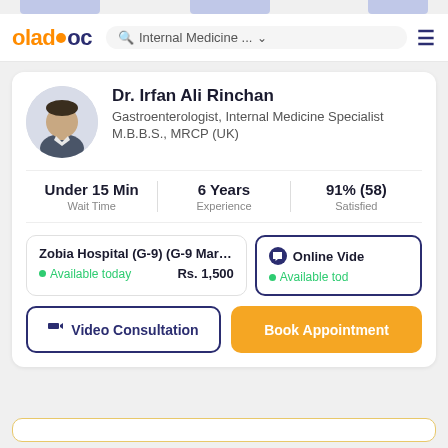oladoc — Internal Medicine ... search bar with hamburger menu
Dr. Irfan Ali Rinchan
Gastroenterologist, Internal Medicine Specialist
M.B.B.S., MRCP (UK)
Under 15 Min Wait Time | 6 Years Experience | 91% (58) Satisfied
Zobia Hospital (G-9) (G-9 Markaz) — Available today — Rs. 1,500 | Online Vide — Available tod
Video Consultation | Book Appointment